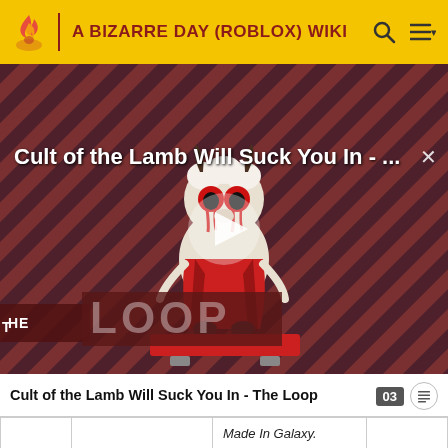A BIZARRE DAY (ROBLOX) WIKI
[Figure (screenshot): Video thumbnail for 'Cult of the Lamb Will Suck You In - The Loop' showing a cartoon lamb character with red eyes on a diagonal striped red-and-dark-purple background, with a play button overlay and THE LOOP branding in the lower left.]
Cult of the Lamb Will Suck You In - The Loop
|  |  | Made In Galaxy. |  |
| --- | --- | --- | --- |
| H | "In the name of God, I will | Made in Heaven does a brief | Piti Dam |